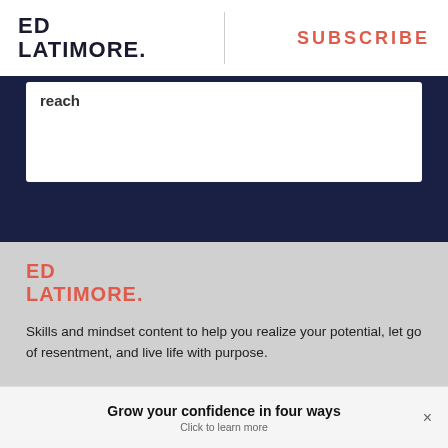ED LATIMORE. | SUBSCRIBE
reach
[Figure (logo): Ed Latimore logo in red on gray background footer]
Skills and mindset content to help you realize your potential, let go of resentment, and live life with purpose.
ARTICLES   SHOP   ABOUT   SOCIAL
Grow your confidence in four ways
Click to learn more